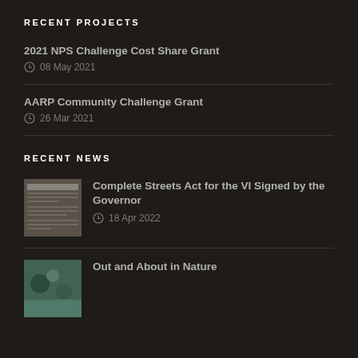RECENT PROJECTS
2021 NPS Challenge Cost Share Grant
08 May 2021
AARP Community Challenge Grant
26 Mar 2021
RECENT NEWS
Complete Streets Act for the VI Signed by the Governor
18 Apr 2022
Out and About in Nature